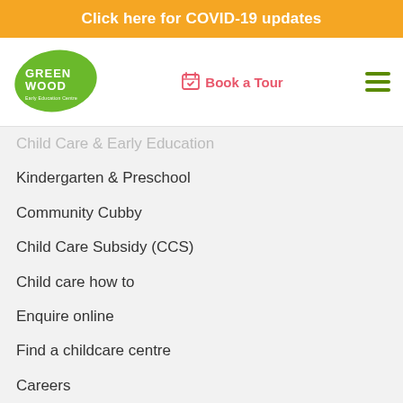Click here for COVID-19 updates
[Figure (logo): Greenwood Early Education Centre logo — green leaf shape with white GREENWOOD text]
Book a Tour
Child Care & Early Education
Kindergarten & Preschool
Community Cubby
Child Care Subsidy (CCS)
Child care how to
Enquire online
Find a childcare centre
Careers
© Greenwood 2022   |   Your Feedback   |   Privacy Policy
[Figure (illustration): Two cartoon children — a girl waving on the left and a boy with glasses waving on the right]